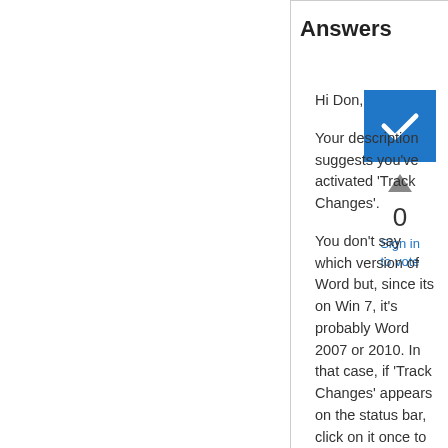Answers
[Figure (other): Blue checkbox icon with white checkmark]
0
Sign in to vote
Hi Don,

Your description suggests you've activated 'Track Changes'.

You don't say which version of Word but, since its on Win 7, it's probably Word 2007 or 2010. In that case, if 'Track Changes' appears on the status bar, click on it once to turn it off. If it doesn't appear there, right-click on the